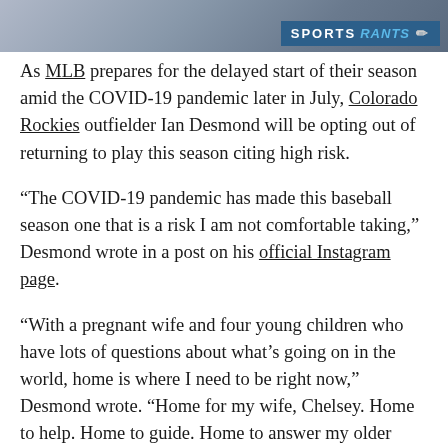Sports Rants
As MLB prepares for the delayed start of their season amid the COVID-19 pandemic later in July, Colorado Rockies outfielder Ian Desmond will be opting out of returning to play this season citing high risk.
“The COVID-19 pandemic has made this baseball season one that is a risk I am not comfortable taking,” Desmond wrote in a post on his official Instagram page.
“With a pregnant wife and four young children who have lots of questions about what’s going on in the world, home is where I need to be right now,” Desmond wrote. “Home for my wife, Chelsey. Home to help. Home to guide. Home to answer my older three boys’ questions about Coronavirus and Civil Rights and life. Home to be their Dad.”